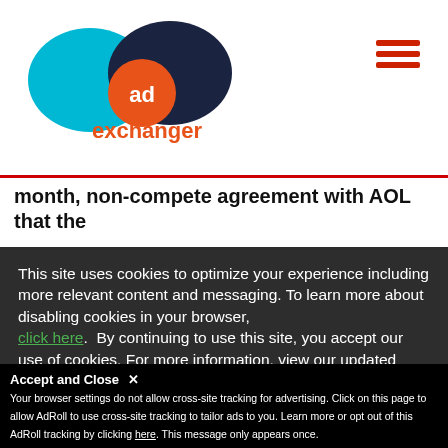[Figure (logo): AdExchanger logo with cyan and dark blue overlapping ovals, orange 'ad' circle, and 'exchanger' text in orange]
[Figure (other): Hamburger menu icon (three red horizontal lines) in top right corner]
month, non-compete agreement with AOL that the
it is
ork in
This site uses cookies to optimize your experience including more relevant content and messaging. To learn more about disabling cookies in your browser, click here. By continuing to use this site, you accept our use of cookies. For more information, view our updated Privacy Policy.
[Figure (other): Green 'I consent' button]
Accept and Close ✕
Your browser settings do not allow cross-site tracking for advertising. Click on this page to allow AdRoll to use cross-site tracking to tailor ads to you. Learn more or opt out of this AdRoll tracking by clicking here. This message only appears once.